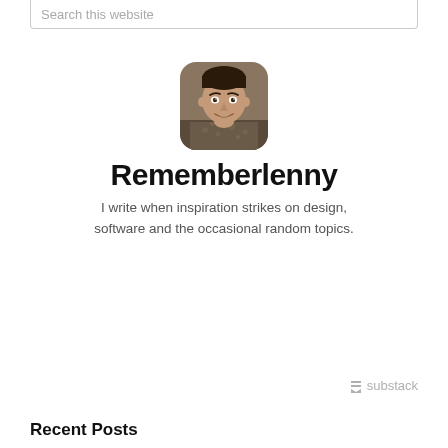Search this website
[Figure (photo): Rounded square avatar photo of a young man smiling, wearing a patterned shirt, with dark hair]
Rememberlenny
I write when inspiration strikes on design, software and the occasional random topics.
[Figure (screenshot): Email subscription widget with 'Type your email...' input field and orange Subscribe button]
[Figure (logo): Substack logo — bookmark icon followed by 'substack' text in gray]
Recent Posts